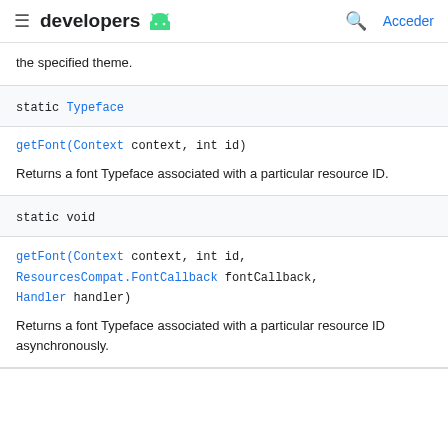developers [android icon] | [search] Acceder
the specified theme.
| static Typeface | getFont(Context context, int id) | Returns a font Typeface associated with a particular resource ID. |
| static void | getFont(Context context, int id, ResourcesCompat.FontCallback fontCallback, Handler handler) | Returns a font Typeface associated with a particular resource ID asynchronously. |
Returns a font Typeface associated with a particular resource ID.
Returns a font Typeface associated with a particular resource ID asynchronously.